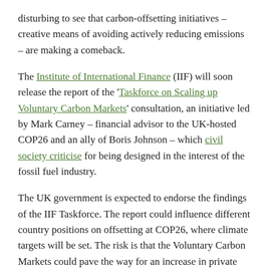disturbing to see that carbon-offsetting initiatives – creative means of avoiding actively reducing emissions – are making a comeback.
The Institute of International Finance (IIF) will soon release the report of the 'Taskforce on Scaling up Voluntary Carbon Markets' consultation, an initiative led by Mark Carney – financial advisor to the UK-hosted COP26 and an ally of Boris Johnson – which civil society criticise for being designed in the interest of the fossil fuel industry.
The UK government is expected to endorse the findings of the IIF Taskforce. The report could influence different country positions on offsetting at COP26, where climate targets will be set. The risk is that the Voluntary Carbon Markets could pave the way for an increase in private finance going into offsetting emissions through tree-planting schemes, nature-based solutions and other projects, many of which do not benefit forests or the climate, and often actively do harm.